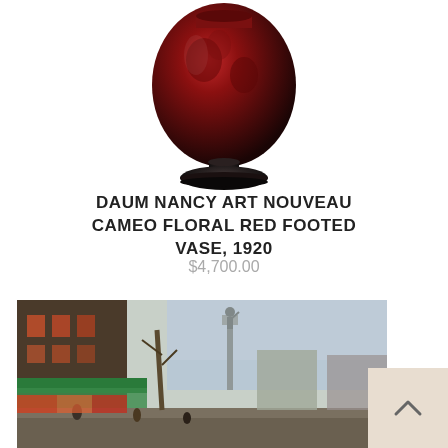[Figure (photo): Daum Nancy Art Nouveau cameo floral red footed vase with dark red/maroon body and black base, photographed on white background]
DAUM NANCY ART NOUVEAU CAMEO FLORAL RED FOOTED VASE, 1920
$4,700.00
[Figure (photo): Painting depicting a busy Parisian street scene with a monument/statue in the center background, colorful storefronts on the left, figures in the street, and architectural buildings]
[Figure (other): Back to top button with upward chevron arrow on a tan/beige background]